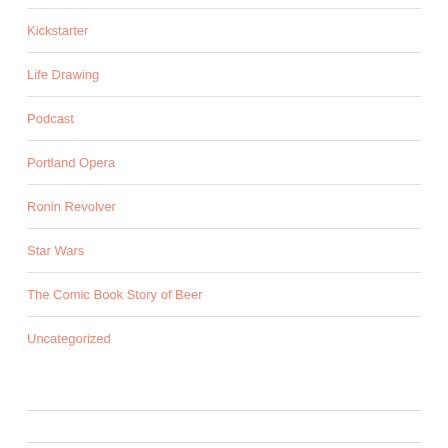Kickstarter
Life Drawing
Podcast
Portland Opera
Ronin Revolver
Star Wars
The Comic Book Story of Beer
Uncategorized